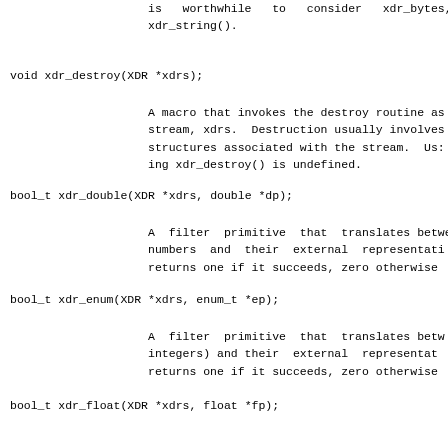is  worthwhile  to  consider  xdr_bytes,
xdr_string().
void xdr_destroy(XDR *xdrs);
A macro that invokes the destroy routine as
stream, xdrs.  Destruction usually involves
structures associated with the stream.  Us:
ing xdr_destroy() is undefined.
bool_t xdr_double(XDR *xdrs, double *dp);
A filter primitive that translates betwe
numbers and their external representati
returns one if it succeeds, zero otherwise
bool_t xdr_enum(XDR *xdrs, enum_t *ep);
A filter primitive that translates betw
integers) and their external representat
returns one if it succeeds, zero otherwise
bool_t xdr_float(XDR *xdrs, float *fp);
A filter primitive that translates betwe
external representations.  This routine ret
ceeds, zero otherwise.
void xdr_free(xdrproc_t proc, char *objp);
Generic free routine. The fi